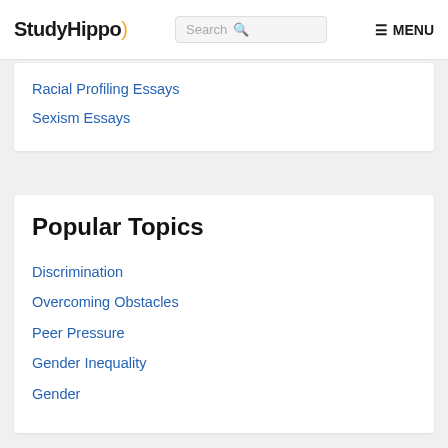StudyHippo) Search MENU
Racial Profiling Essays
Sexism Essays
Popular Topics
Discrimination
Overcoming Obstacles
Peer Pressure
Gender Inequality
Gender